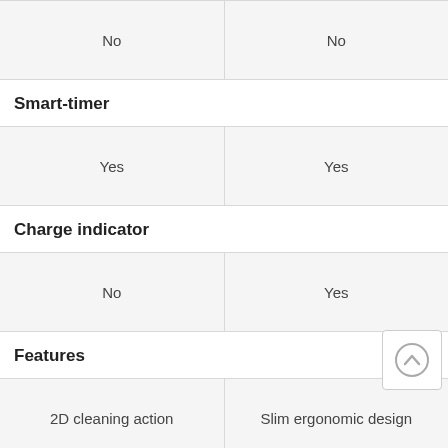| No | No |
| Smart-timer |  |
| Yes | Yes |
| Charge indicator |  |
| No | Yes |
| Features |  |
| 2D cleaning action | Slim ergonomic design |